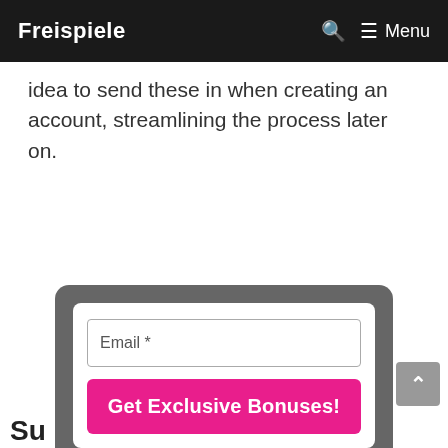Freispiele   🔍  ☰ Menu
idea to send these in when creating an account, streamlining the process later on.
[Figure (screenshot): Email subscription modal with an email input field and a pink 'Get Exclusive Bonuses!' button on a dark grey card background]
Su